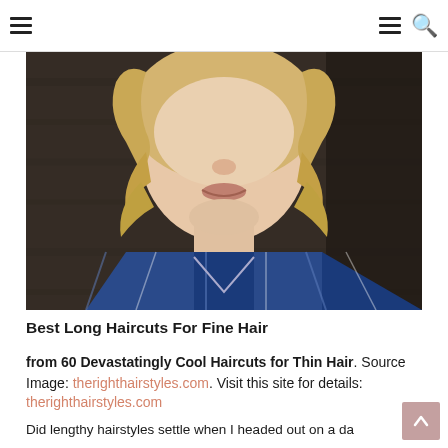≡  ≡ 🔍
[Figure (photo): Woman with wavy blonde hair and blue plaid shirt, close-up portrait from shoulders up against dark background]
Best Long Haircuts For Fine Hair
from 60 Devastatingly Cool Haircuts for Thin Hair. Source Image: therighthairstyles.com. Visit this site for details: therighthairstyles.com
Did lengthy hairstyles settle when I headed out on a da